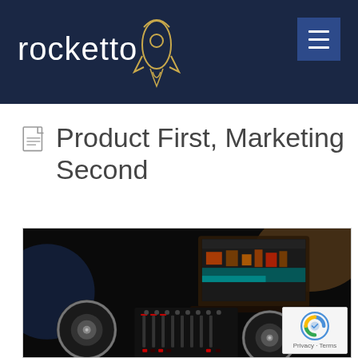rocketto
Product First, Marketing Second
[Figure (photo): DJ controller/turntable equipment with a laptop in the background showing software, dark background with warm bokeh lighting]